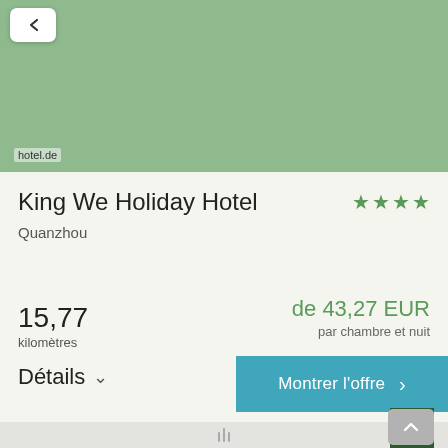[Figure (screenshot): Green placeholder hotel image area with hotel.de watermark label]
King We Holiday Hotel
Quanzhou
★★★★
15,77
kilomètres
de 43,27 EUR
par chambre et nuit
Détails ∨
Montrer l'offre >
6